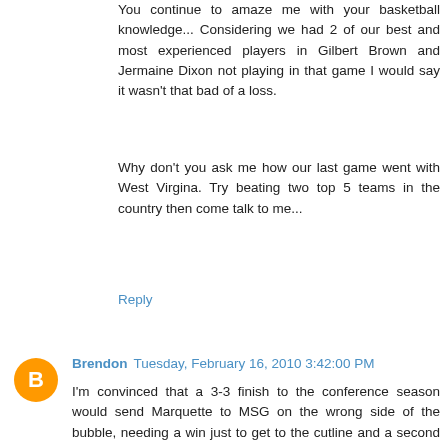You continue to amaze me with your basketball knowledge... Considering we had 2 of our best and most experienced players in Gilbert Brown and Jermaine Dixon not playing in that game I would say it wasn't that bad of a loss.
Why don't you ask me how our last game went with West Virgina. Try beating two top 5 teams in the country then come talk to me...
Reply
Brendon Tuesday, February 16, 2010 3:42:00 PM
I'm convinced that a 3-3 finish to the conference season would send Marquette to MSG on the wrong side of the bubble, needing a win just to get to the cutline and a second win to be fairly certain of a bid.
That's a projection based on how things are falling around the bubble. The cutline could move up or down between now and then.